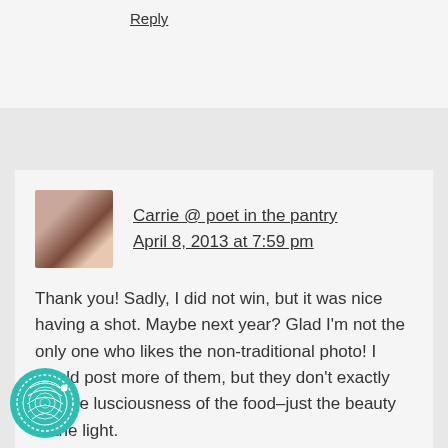Reply
Carrie @ poet in the pantry
April 8, 2013 at 7:59 pm
Thank you! Sadly, I did not win, but it was nice having a shot. Maybe next year? Glad I'm not the only one who likes the non-traditional photo! I would post more of them, but they don't exactly sell the lusciousness of the food–just the beauty of the light.
Reply